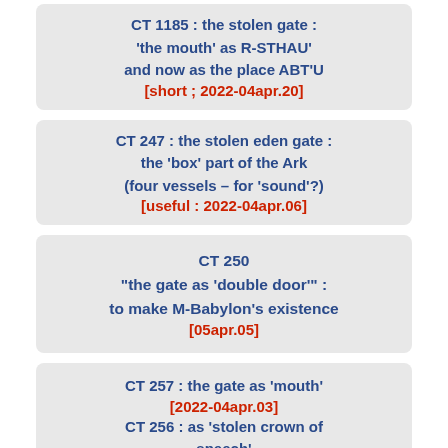CT 1185 : the stolen gate : 'the mouth' as R-STHAU' and now as the place ABT'U [short ; 2022-04apr.20]
CT 247 : the stolen eden gate : the 'box' part of the Ark (four vessels – for 'sound'?) [useful : 2022-04apr.06]
CT 250 "the gate as 'double door'": to make M-Babylon's existence [05apr.05]
CT 257 : the gate as 'mouth' [2022-04apr.03] CT 256 : as 'stolen crown of speech'